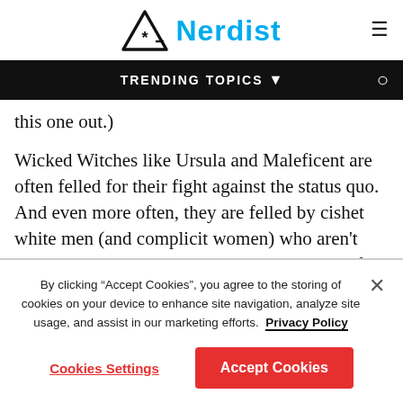Nerdist
TRENDING TOPICS
this one out.)
Wicked Witches like Ursula and Maleficent are often felled for their fight against the status quo. And even more often, they are felled by cishet white men (and complicit women) who aren't competent. And more disturbingly, they are often cut down in phallic ways at the height of their power: Ursula by a ship's mast to her
By clicking “Accept Cookies”, you agree to the storing of cookies on your device to enhance site navigation, analyze site usage, and assist in our marketing efforts.  Privacy Policy
Cookies Settings
Accept Cookies